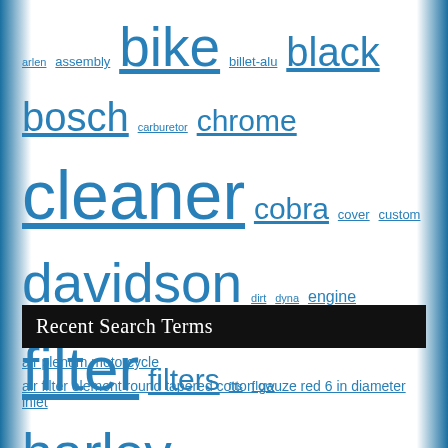arlen assembly bike billet-alu black bosch carburetor chrome cleaner cobra cover custom davidson dirt dyna engine filter filters fits flow harley high honda indian intake kawasaki luftfilter luftmassenmesser mini motorcycle motorcycles ness performance replacement rick's schwarz softail sportster stage street suzuki system touring twin yamaha
Recent Search Terms
air plenum motorcycle
air filter element round tapered cotton gauze red 6 in diameter inlet